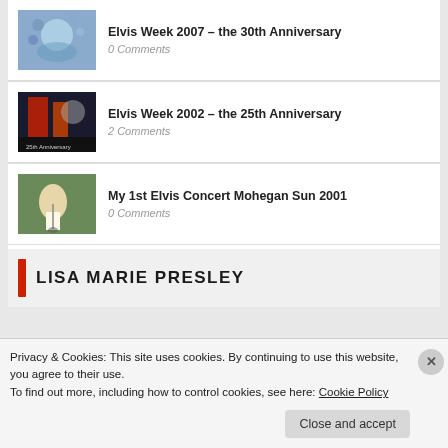Elvis Week 2007 – the 30th Anniversary
0 Comments
Elvis Week 2002 – the 25th Anniversary
2 Comments
My 1st Elvis Concert Mohegan Sun 2001
0 Comments
LISA MARIE PRESLEY
Privacy & Cookies: This site uses cookies. By continuing to use this website, you agree to their use.
To find out more, including how to control cookies, see here: Cookie Policy
Close and accept